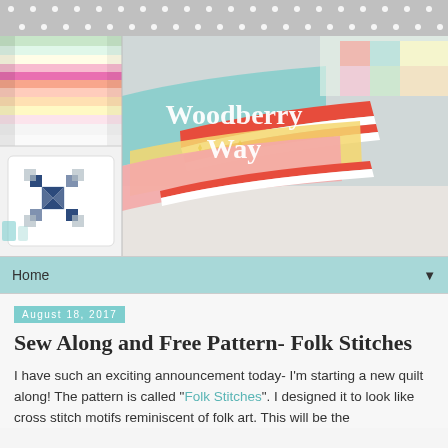[Figure (illustration): Gray polka dot decorative header strip]
[Figure (photo): Blog banner collage: top-left shows colorful fabric rolls stacked, bottom-left shows a decorative pillow with blue star quilt block, right side shows close-up of folded quilts with striped binding in red/white, yellow, and teal fabrics. Overlaid text reads 'Woodberry Way' in white serif font.]
Home ▼
August 18, 2017
Sew Along and Free Pattern- Folk Stitches
I have such an exciting announcement today- I'm starting a new quilt along! The pattern is called "Folk Stitches". I designed it to look like cross stitch motifs reminiscent of folk art. This will be the